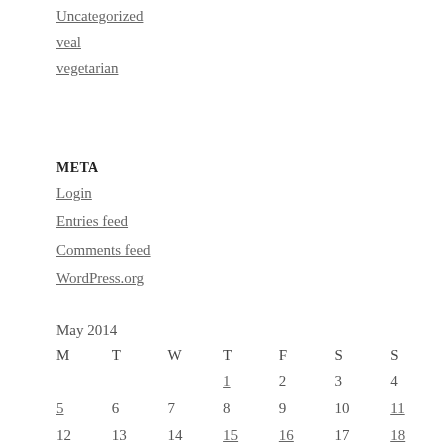Uncategorized
veal
vegetarian
META
Login
Entries feed
Comments feed
WordPress.org
May 2014
| M | T | W | T | F | S | S |
| --- | --- | --- | --- | --- | --- | --- |
|  |  |  | 1 | 2 | 3 | 4 |
| 5 | 6 | 7 | 8 | 9 | 10 | 11 |
| 12 | 13 | 14 | 15 | 16 | 17 | 18 |
| 19 | 20 | 21 | 22 | 23 | 24 | 25 |